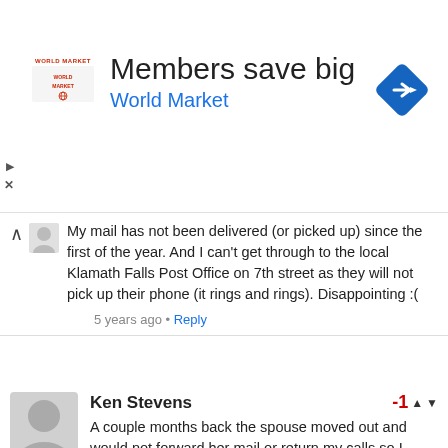[Figure (screenshot): World Market advertisement banner with logo, headline 'Members save big', subheadline 'World Market', and a blue diamond navigation icon on the right]
My mail has not been delivered (or picked up) since the first of the year. And I can't get through to the local Klamath Falls Post Office on 7th street as they will not pick up their phone (it rings and rings). Disappointing :(
5 years ago • Reply
Ken Stevens
A couple months back the spouse moved out and would not forward her mail or return my calls so I could give her mail to her and not wanting to get into trouble by keeping her mail or throwing them away, I started to send them back to sender. So, my carrier decided to take it upon herself to stop my mail as well and take my name off the address I have been at for 5 years. After the procedure for receiving email to review...